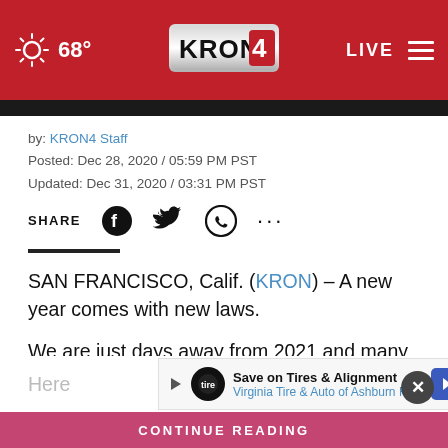68° KRON4 LIVE
by: KRON4 Staff
Posted: Dec 28, 2020 / 05:59 PM PST
Updated: Dec 31, 2020 / 03:31 PM PST
SHARE
SAN FRANCISCO, Calif. (KRON) – A new year comes with new laws.
We are just days away from 2021 and many new laws will go into effect across California.
Here
[Figure (screenshot): Advertisement: Save on Tires & Alignment — Virginia Tire & Auto of Ashburn Fa...]
CONTINUE READING